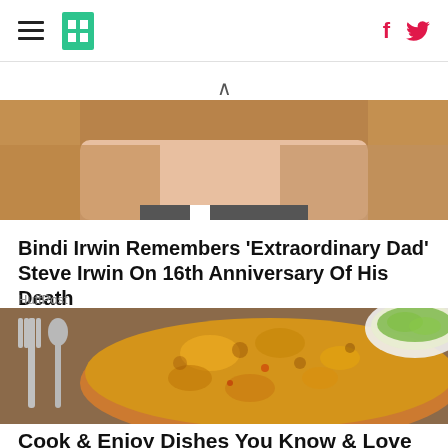HuffPost navigation with hamburger menu, logo, Facebook and Twitter icons
[Figure (photo): Partial view of a person's face with long blonde hair, cropped — bottom half of face visible]
Bindi Irwin Remembers 'Extraordinary Dad' Steve Irwin On 16th Anniversary Of His Death
HuffPost
[Figure (photo): Close-up of a cheesy baked lasagna or pasta dish with fork visible on the left, served on a plate, with a bowl of salad in the background]
Cook & Enjoy Dishes You Know & Love